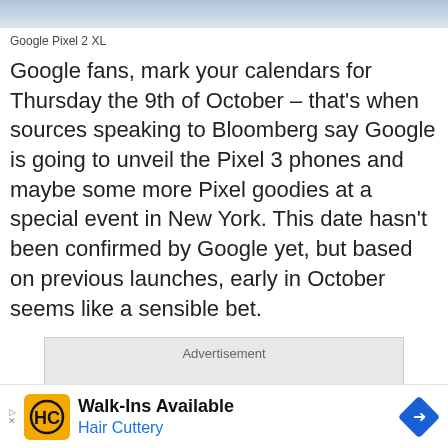[Figure (photo): Top portion of a photo showing Google Pixel 2 XL smartphone, cropped view showing the top edge]
Google Pixel 2 XL
Google fans, mark your calendars for Thursday the 9th of October – that's when sources speaking to Bloomberg say Google is going to unveil the Pixel 3 phones and maybe some more Pixel goodies at a special event in New York. This date hasn't been confirmed by Google yet, but based on previous launches, early in October seems like a sensible bet.
[Figure (other): Advertisement placeholder box with gray background and 'Advertisement' label]
[Figure (other): Bottom advertisement banner for Hair Cuttery - Walk-Ins Available with yellow HC logo and blue navigation arrow]